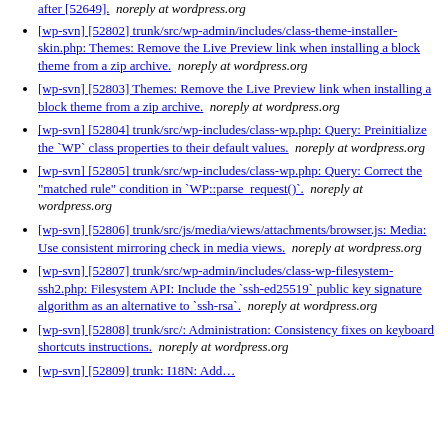after [52649].   noreply at wordpress.org
[wp-svn] [52802] trunk/src/wp-admin/includes/class-theme-installer-skin.php: Themes: Remove the Live Preview link when installing a block theme from a zip archive.   noreply at wordpress.org
[wp-svn] [52803] Themes: Remove the Live Preview link when installing a block theme from a zip archive.   noreply at wordpress.org
[wp-svn] [52804] trunk/src/wp-includes/class-wp.php: Query: Preinitialize the `WP` class properties to their default values.   noreply at wordpress.org
[wp-svn] [52805] trunk/src/wp-includes/class-wp.php: Query: Correct the "matched rule" condition in `WP::parse_request()`.   noreply at wordpress.org
[wp-svn] [52806] trunk/src/js/media/views/attachments/browser.js: Media: Use consistent mirroring check in media views.   noreply at wordpress.org
[wp-svn] [52807] trunk/src/wp-admin/includes/class-wp-filesystem-ssh2.php: Filesystem API: Include the `ssh-ed25519` public key signature algorithm as an alternative to `ssh-rsa`.   noreply at wordpress.org
[wp-svn] [52808] trunk/src/: Administration: Consistency fixes on keyboard shortcuts instructions.   noreply at wordpress.org
[wp-svn] [52809] trunk: I18N: Add...